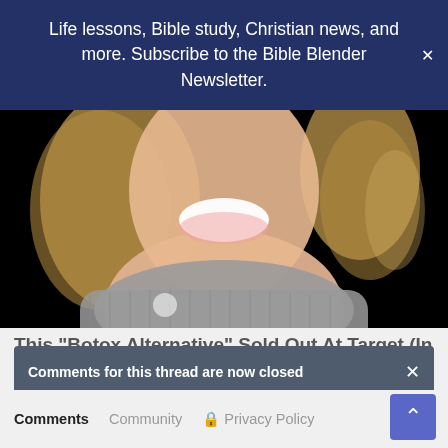Life lessons, Bible study, Christian news, and more. Subscribe to the Bible Blender Newsletter.
[Figure (photo): Smiling woman with blonde hair wearing a grey turtleneck sweater against a black background]
This "Botox Alternative" Sold Out At Target (In Only 2 Days)
Vibriance
Comments for this thread are now closed
Comments  Community  Privacy Policy